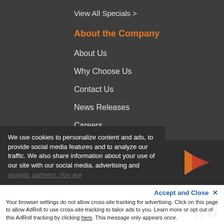View All Specials >
About the Company
About Us
Why Choose Us
Contact Us
News Releases
Careers
For Our Agents
Terms of Use
Privacy Policy
We use cookies to personalize content and ads, to provide social media features and to analyze our traffic. We also share information about your use of our site with our social media, advertising and analytic partners. You are
Accept and Close ✕
Your browser settings do not allow cross-site tracking for advertising. Click on this page to allow AdRoll to use cross-site tracking to tailor ads to you. Learn more or opt out of this AdRoll tracking by clicking here. This message only appears once.